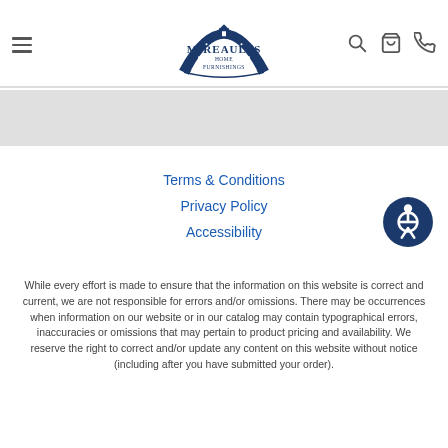Mireaults Home Furnishings — navigation bar with logo, hamburger menu, search, cart, and phone icons
Terms & Conditions
Privacy Policy
Accessibility
While every effort is made to ensure that the information on this website is correct and current, we are not responsible for errors and/or omissions. There may be occurrences when information on our website or in our catalog may contain typographical errors, inaccuracies or omissions that may pertain to product pricing and availability. We reserve the right to correct and/or update any content on this website without notice (including after you have submitted your order).